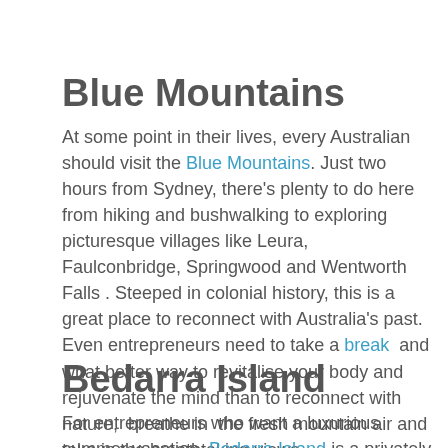Blue Mountains
At some point in their lives, every Australian should visit the Blue Mountains. Just two hours from Sydney, there's plenty to do here from hiking and bushwalking to exploring picturesque villages like Leura, Faulconbridge, Springwood and Wentworth Falls . Steeped in colonial history, this is a great place to reconnect with Australia's past. Even entrepreneurs need to take a break  and what better way to revitalise your body and rejuvenate the mind than to reconnect with nature,  breathe in  the fresh mountain air and take in the breathtaking views.
Bedarra Island
For entrepreneurs who want a luxurious summer vacation, Bedarra Island is a privately owned island with an eight-